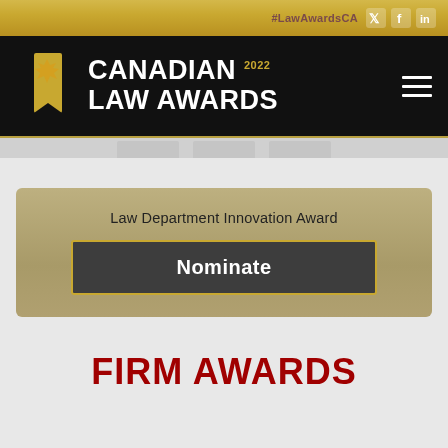#LawAwardsCA
[Figure (logo): Canadian Law Awards 2022 logo with maple leaf emblem on black navigation bar]
Law Department Innovation Award
Nominate
FIRM AWARDS